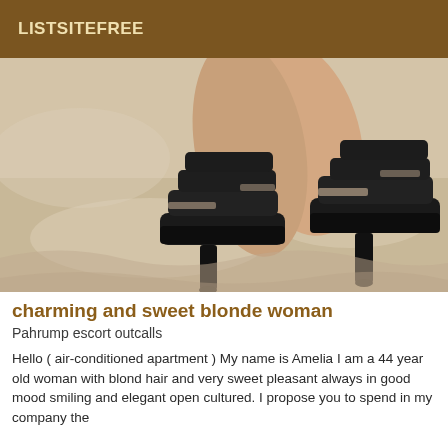LISTSITEFREE
[Figure (photo): Close-up photo of a woman's legs wearing black platform high-heel sandals with multiple straps, resting on a white/beige surface]
charming and sweet blonde woman
Pahrump escort outcalls
Hello ( air-conditioned apartment ) My name is Amelia I am a 44 year old woman with blond hair and very sweet pleasant always in good mood smiling and elegant open cultured. I propose you to spend in my company the